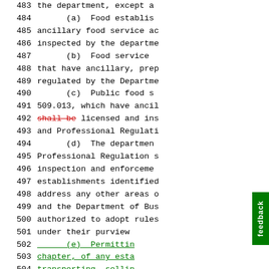483  the department, except a...
484      (a) Food establis...
485  ancillary food service ac...
486  inspected by the departme...
487      (b) Food service...
488  that have ancillary, prep...
489  regulated by the Departme...
490      (c) Public food s...
491  509.013, which have ancil...
492  [shall be] licensed and ins...
493  and Professional Regulati...
494      (d) The departmen...
495  Professional Regulation s...
496  inspection and enforcemen...
497  establishments identified...
498  address any other areas o...
499  and the Department of Bus...
500  authorized to adopt rules...
501  under their purview
502      (e) Permittin...
503  chapter, of any esta...
504  transporting, sellin...
505  or holding prepacka...
506  a duplication of reg...
507      Section 10.  Effec...
508  subsection (1) of section...